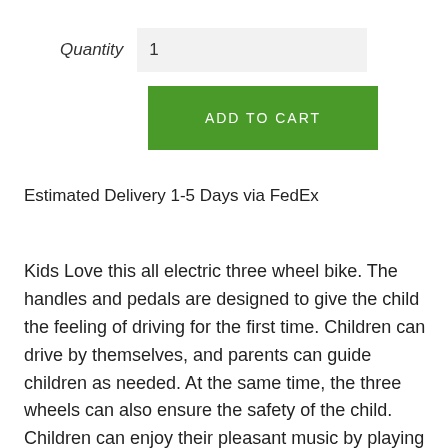Quantity   1
ADD TO CART
Estimated Delivery 1-5 Days via FedEx
Kids Love this all electric three wheel bike. The handles and pedals are designed to give the child the feeling of driving for the first time. Children can drive by themselves, and parents can guide children as needed. At the same time, the three wheels can also ensure the safety of the child. Children can enjoy their pleasant music by playing their favorite music and stories through